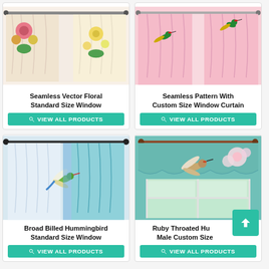[Figure (illustration): Seamless Vector Floral Standard Size Window curtain product image showing floral patterned curtains]
Seamless Vector Floral Standard Size Window
VIEW ALL PRODUCTS
[Figure (illustration): Seamless Pattern With Custom Size Window Curtain product image showing hummingbird patterned pink curtains]
Seamless Pattern With Custom Size Window Curtain
VIEW ALL PRODUCTS
[Figure (illustration): Broad Billed Hummingbird Standard Size Window curtain product image showing a hummingbird on curtains]
Broad Billed Hummingbird Standard Size Window
VIEW ALL PRODUCTS
[Figure (illustration): Ruby Throated Hummingbird Male Custom Size curtain product image showing a ruby throated hummingbird valance]
Ruby Throated Hummingbird Male Custom Size
VIEW ALL PRODUCTS